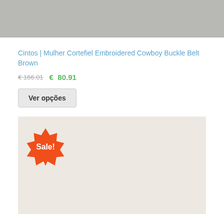[Figure (photo): Top portion of a product image, grey/beige background visible]
Cintos | Mulher Cortefiel Embroidered Cowboy Buckle Belt Brown
€ 166.01  €  80.91
Ver opções
[Figure (photo): Product image with beige/cream background and an orange Sale! badge in the top left corner]